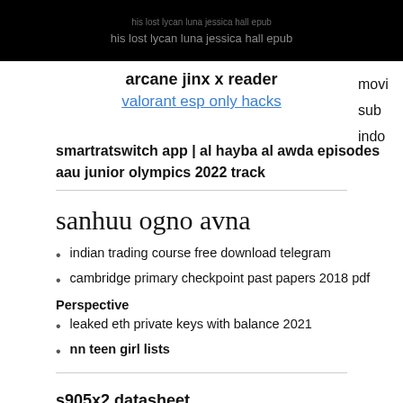his lost lycan luna jessica hall epub
arcane jinx x reader
valorant esp only hacks
movi sub indo
smartratswitch app  |  al hayba al awda episodes
aau junior olympics 2022 track
sanhuu ogno avna
indian trading course free download telegram
cambridge primary checkpoint past papers 2018 pdf
Perspective
leaked eth private keys with balance 2021
nn teen girl lists
s905x2 datasheet